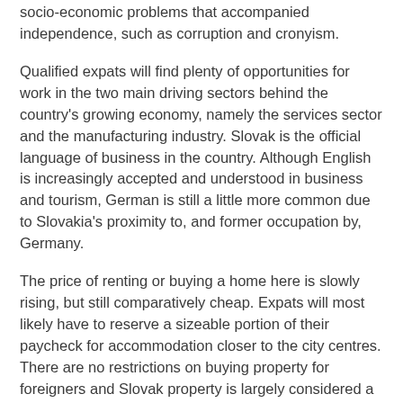socio-economic problems that accompanied independence, such as corruption and cronyism.
Qualified expats will find plenty of opportunities for work in the two main driving sectors behind the country's growing economy, namely the services sector and the manufacturing industry. Slovak is the official language of business in the country. Although English is increasingly accepted and understood in business and tourism, German is still a little more common due to Slovakia's proximity to, and former occupation by, Germany.
The price of renting or buying a home here is slowly rising, but still comparatively cheap. Expats will most likely have to reserve a sizeable portion of their paycheck for accommodation closer to the city centres. There are no restrictions on buying property for foreigners and Slovak property is largely considered a safe investment.
Slovakia has a reasonably extensive public transport system. Cities such as Bratislava are serviced by buses, trams, trolleybuses and taxis, making it easy to get